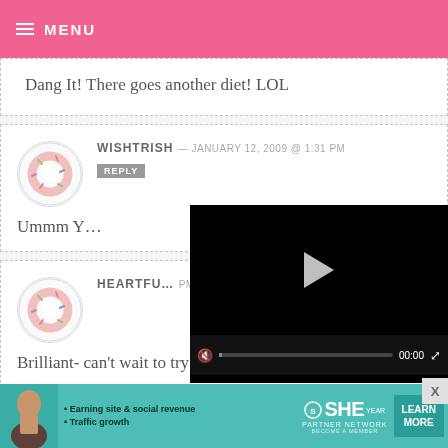MENU
Dang It! There goes another diet! LOL
WISHTRISH — JANUARY 12, 2009 @ 1:31 PM
REPLY
Ummm Y…
[Figure (screenshot): Video player overlay with black background, play button, progress bar at 00:00, mute and fullscreen controls]
HEARTFU… PM  REPLY
Brilliant- can't wait to try this!!!
[Figure (infographic): SHE Partner Network advertisement banner with teal background, woman photo, bullet points about Earning site & social revenue and Traffic growth, SHE logo, and LEARN MORE button]